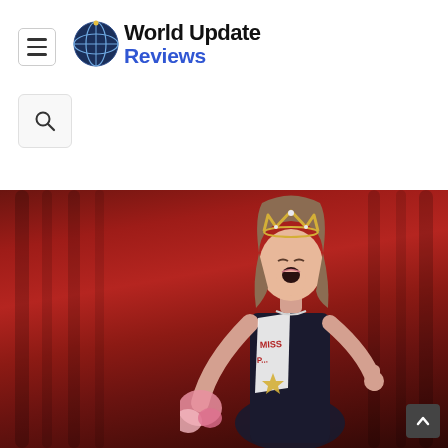World Update Reviews — site header with menu button, globe logo, and search button
[Figure (photo): A young girl wearing a pageant crown/tiara and a black dress with a white 'MISS ...' sash, holding pink flowers, mouth open in excited celebration, against a red curtain background. A dark scroll-to-top button is visible in the bottom right corner.]